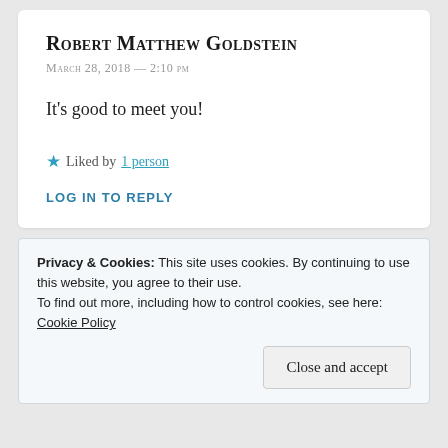Robert Matthew Goldstein
March 28, 2018 — 2:10 pm
It's good to meet you!
★ Liked by 1 person
LOG IN TO REPLY
Privacy & Cookies: This site uses cookies. By continuing to use this website, you agree to their use.
To find out more, including how to control cookies, see here: Cookie Policy
Close and accept